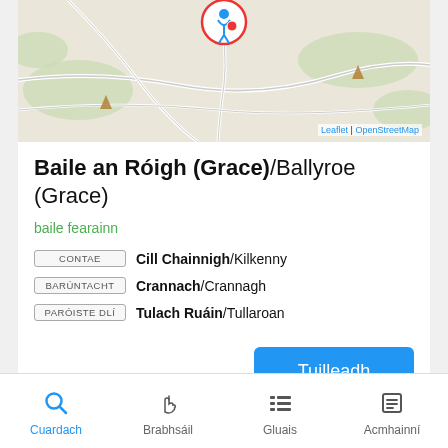[Figure (map): OpenStreetMap showing location of Baile an Róigh (Grace)/Ballyroe (Grace) with a marker pin icon in blue/red circle. Green road lines, beige land, with Leaflet | OpenStreetMap attribution.]
Baile an Róigh (Grace)/Ballyroe (Grace)
baile fearainn
CONTAE  Cill Chainnigh/Kilkenny
BARÚNTACHT  Crannach/Crannagh
PARÓISTE DLÍ  Tulach Ruáin/Tullaroan
Tuilleadh
Cuardach  Brabhsáil  Gluais  Acmhainní